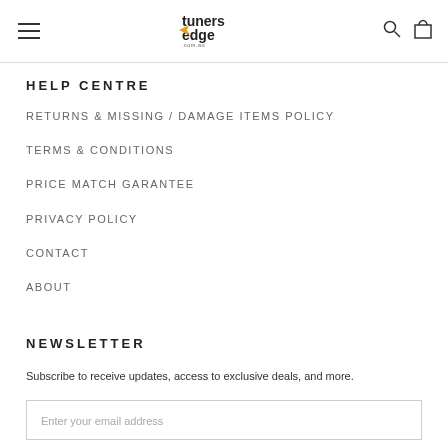Tuners Edge .com.au — navigation header with menu, logo, search and cart icons
HELP CENTRE
RETURNS & MISSING / DAMAGE ITEMS POLICY
TERMS & CONDITIONS
PRICE MATCH GARANTEE
PRIVACY POLICY
CONTACT
ABOUT
NEWSLETTER
Subscribe to receive updates, access to exclusive deals, and more.
Enter your email address